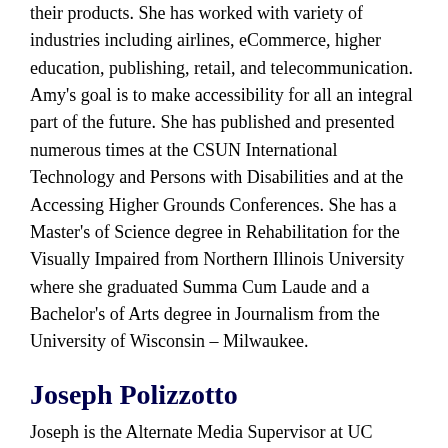their products. She has worked with variety of industries including airlines, eCommerce, higher education, publishing, retail, and telecommunication. Amy's goal is to make accessibility for all an integral part of the future. She has published and presented numerous times at the CSUN International Technology and Persons with Disabilities and at the Accessing Higher Grounds Conferences. She has a Master's of Science degree in Rehabilitation for the Visually Impaired from Northern Illinois University where she graduated Summa Cum Laude and a Bachelor's of Arts degree in Journalism from the University of Wisconsin – Milwaukee.
Joseph Polizzotto
Joseph is the Alternate Media Supervisor at UC Berkeley. He previously was Assistive Technology Specialist Instructor at the High Tech Center Training Unit (HTCTU) of the California Community Colleges, where he trained college faculty and staff on alternate media workflows and assistive technology. Joseph received a B.A. degree in History from the University of California, Santa Cruz and an M.A. degree in Teaching English to Speakers of Other Languages (TESOL) from San José State University. He has over 15 years of teaching experience in ESL and